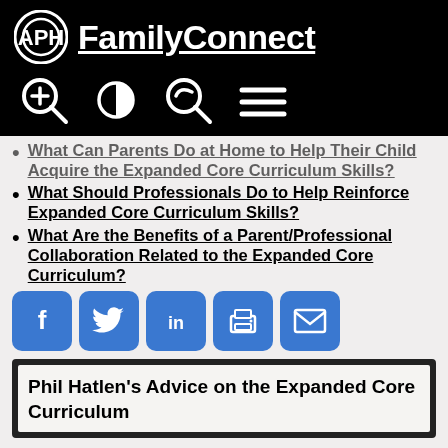APH FamilyConnect
What Can Parents Do at Home to Help Their Child Acquire the Expanded Core Curriculum Skills?
What Should Professionals Do to Help Reinforce Expanded Core Curriculum Skills?
What Are the Benefits of a Parent/Professional Collaboration Related to the Expanded Core Curriculum?
[Figure (infographic): Social share buttons: Facebook, Twitter, LinkedIn, Print, Email]
Phil Hatlen's Advice on the Expanded Core Curriculum